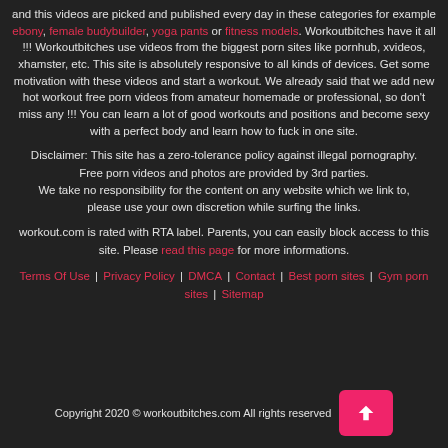and this videos are picked and published every day in these categories for example ebony, female budybuilder, yoga pants or fitness models. Workoutbitches have it all !!! Workoutbitches use videos from the biggest porn sites like pornhub, xvideos, xhamster, etc. This site is absolutely responsive to all kinds of devices. Get some motivation with these videos and start a workout. We already said that we add new hot workout free porn videos from amateur homemade or professional, so don't miss any !!! You can learn a lot of good workouts and positions and become sexy with a perfect body and learn how to fuck in one site.
Disclaimer: This site has a zero-tolerance policy against illegal pornography. Free porn videos and photos are provided by 3rd parties. We take no responsibility for the content on any website which we link to, please use your own discretion while surfing the links.
workout.com is rated with RTA label. Parents, you can easily block access to this site. Please read this page for more informations.
Terms Of Use | Privacy Policy | DMCA | Contact | Best porn sites | Gym porn sites | Sitemap
Copyright 2020 © workoutbitches.com All rights reserved